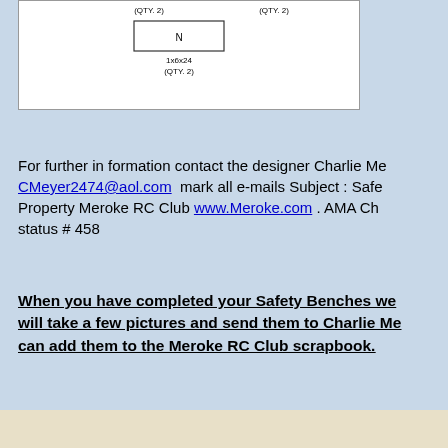[Figure (engineering-diagram): Partial engineering/parts diagram showing labeled wood pieces. Visible labels include 'N', '1x6x24', '(QTY. 2)' and partial labels at top edges.]
For further in formation contact the designer Charlie Me CMeyer2474@aol.com  mark all e-mails Subject : Safe Property Meroke RC Club www.Meroke.com . AMA Ch status # 458
When you have completed your Safety Benches we will take a few pictures and send them to Charlie Me can add them to the Meroke RC Club scrapbook.